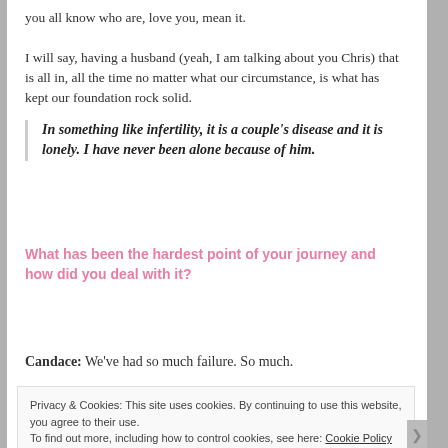you all know who are, love you, mean it.
I will say, having a husband (yeah, I am talking about you Chris) that is all in, all the time no matter what our circumstance, is what has kept our foundation rock solid.
In something like infertility, it is a couple's disease and it is lonely. I have never been alone because of him.
What has been the hardest point of your journey and how did you deal with it?
Candace: We've had so much failure. So much.
Privacy & Cookies: This site uses cookies. By continuing to use this website, you agree to their use. To find out more, including how to control cookies, see here: Cookie Policy